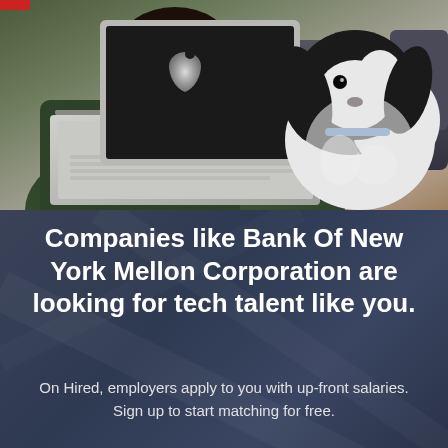[Figure (photo): Person wearing a dark green shirt sitting on a couch with a black and white fluffy dog, working on a MacBook Pro laptop]
Companies like Bank Of New York Mellon Corporation are looking for tech talent like you.
On Hired, employers apply to you with up-front salaries.
Sign up to start matching for free.